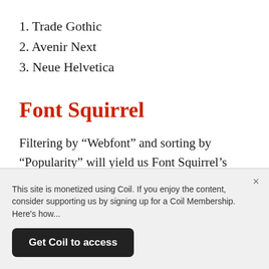1. Trade Gothic
2. Avenir Next
3. Neue Helvetica
Font Squirrel
Filtering by “Webfont” and sorting by “Popularity” will yield us Font Squirrel’s most popular for @font-face embedding. Its top three:
This site is monetized using Coil. If you enjoy the content, consider supporting us by signing up for a Coil Membership. Here’s how...
Get Coil to access